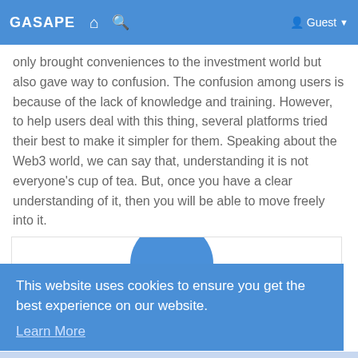GASAPE
only brought conveniences to the investment world but also gave way to confusion. The confusion among users is because of the lack of knowledge and training. However, to help users deal with this thing, several platforms tried their best to make it simpler for them. Speaking about the Web3 world, we can say that, understanding it is not everyone's cup of tea. But, once you have a clear understanding of it, then you will be able to move freely into it.
[Figure (illustration): Partial circular icon visible at top of a card/image area]
This website uses cookies to ensure you get the best experience on our website. Learn More
Got It!
Walletconnect- Facilitating the Interaction With Web3